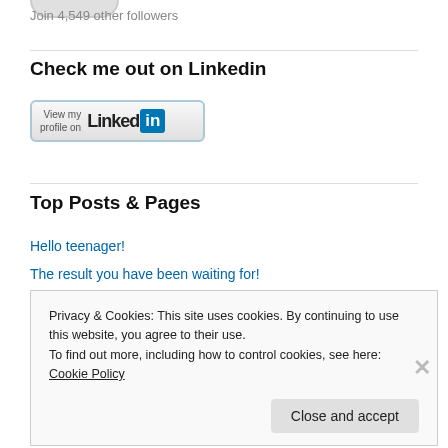[Figure (illustration): Partial view of a circular avatar/profile image at top of page]
Join 4,549 other followers
Check me out on Linkedin
[Figure (logo): LinkedIn 'View my profile on' button badge with LinkedIn wordmark and blue 'in' box]
Top Posts & Pages
Hello teenager!
The result you have been waiting for!
Privacy & Cookies: This site uses cookies. By continuing to use this website, you agree to their use.
To find out more, including how to control cookies, see here: Cookie Policy
Close and accept